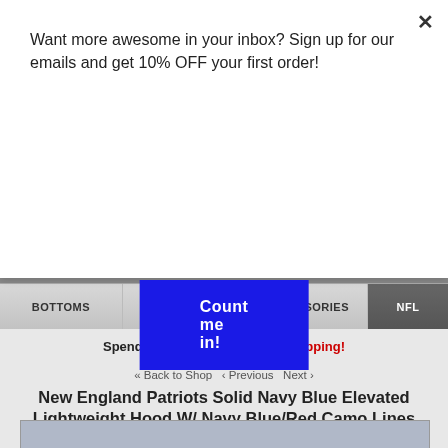Want more awesome in your inbox? Sign up for our emails and get 10% OFF your first order!
Count me in!
×
BOTTOMS   TOPS   ACCESSORIES   NFL
Spend 50 Bucks and get Free Shipping!
« Back to Shop  ‹ Previous  Next ›
New England Patriots Solid Navy Blue Elevated Lightweight Hood W/ Navy Blue/Red Camo Lines Accent